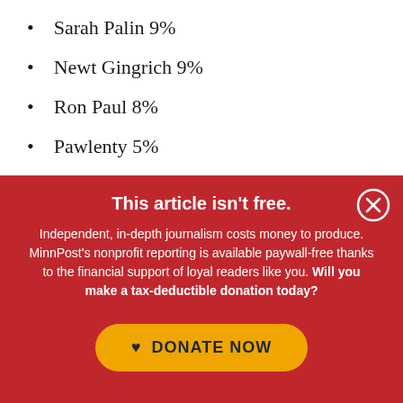Sarah Palin 9%
Newt Gingrich 9%
Ron Paul 8%
Pawlenty 5%
This article isn't free.
Independent, in-depth journalism costs money to produce. MinnPost's nonprofit reporting is available paywall-free thanks to the financial support of loyal readers like you. Will you make a tax-deductible donation today?